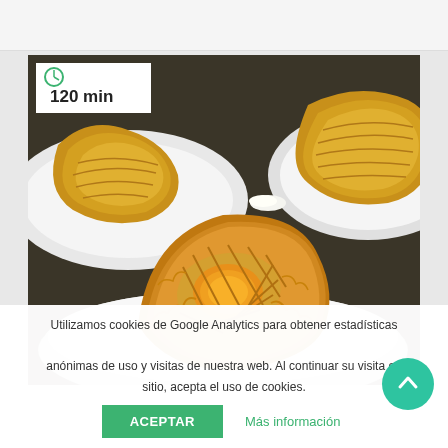[Figure (photo): Photo of golden puff pastry / cream puff pastries on white plates, with a white badge overlay showing a clock icon and '120 min']
Utilizamos cookies de Google Analytics para obtener estadísticas anónimas de uso y visitas de nuestra web. Al continuar su visita en este sitio, acepta el uso de cookies.
ACEPTAR
Más información